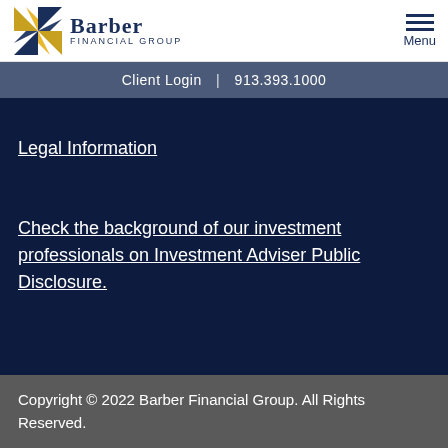Barber Financial Group | Client Login | 913.393.1000 | Menu
Legal Information
Check the background of our investment professionals on Investment Adviser Public Disclosure.
Copyright © 2022 Barber Financial Group. All Rights Reserved.